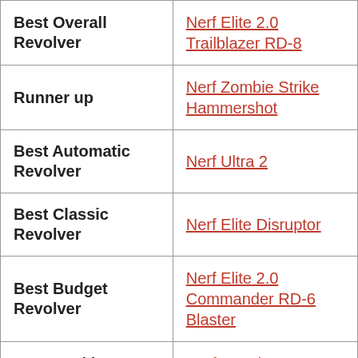| Category | Product |
| --- | --- |
| Best Overall Revolver | Nerf Elite 2.0 Trailblazer RD-8 |
| Runner up | Nerf Zombie Strike Hammershot |
| Best Automatic Revolver | Nerf Ultra 2 |
| Best Classic Revolver | Nerf Elite Disruptor |
| Best Budget Revolver | Nerf Elite 2.0 Commander RD-6 Blaster |
| Best Looking | Nerf Fortnite 6 SH... |